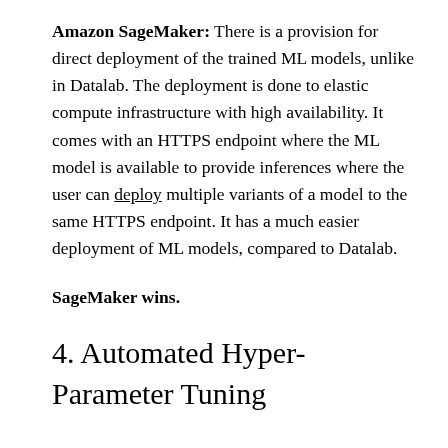Amazon SageMaker: There is a provision for direct deployment of the trained ML models, unlike in Datalab. The deployment is done to elastic compute infrastructure with high availability. It comes with an HTTPS endpoint where the ML model is available to provide inferences where the user can deploy multiple variants of a model to the same HTTPS endpoint. It has a much easier deployment of ML models, compared to Datalab.
SageMaker wins.
4. Automated Hyper-Parameter Tuning